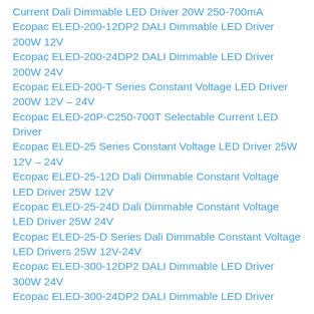Current Dali Dimmable LED Driver 20W 250-700mA
Ecopac ELED-200-12DP2 DALI Dimmable LED Driver 200W 12V
Ecopac ELED-200-24DP2 DALI Dimmable LED Driver 200W 24V
Ecopac ELED-200-T Series Constant Voltage LED Driver 200W 12V – 24V
Ecopac ELED-20P-C250-700T Selectable Current LED Driver
Ecopac ELED-25 Series Constant Voltage LED Driver 25W 12V – 24V
Ecopac ELED-25-12D Dali Dimmable Constant Voltage LED Driver 25W 12V
Ecopac ELED-25-24D Dali Dimmable Constant Voltage LED Driver 25W 24V
Ecopac ELED-25-D Series Dali Dimmable Constant Voltage LED Drivers 25W 12V-24V
Ecopac ELED-300-12DP2 DALI Dimmable LED Driver 300W 24V
Ecopac ELED-300-24DP2 DALI Dimmable LED Driver